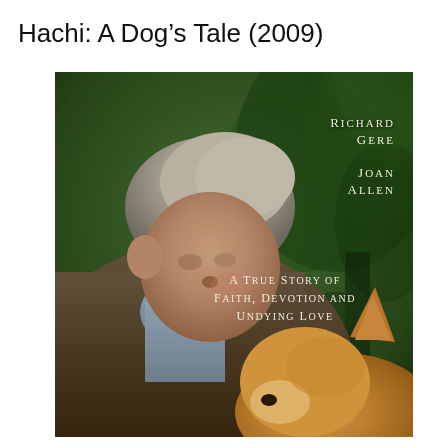Hachi: A Dog's Tale (2009)
[Figure (photo): Movie poster for Hachi: A Dog's Tale (2009). Shows a middle-aged man with grey hair (Richard Gere) looking down at a dog (an Akita puppy visible at bottom right). Green foliage in background. Text overlays: 'Richard Gere', 'Joan Allen', 'A True Story of Faith, Devotion and Undying Love'.]